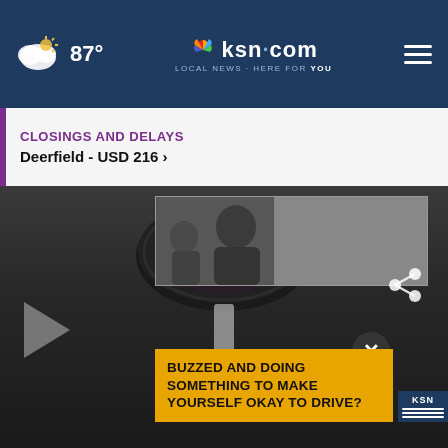87° | ksn.com LOCAL NEWS · HERE FOR YOU
CLOSINGS AND DELAYS
Deerfield - USD 216 ›
[Figure (screenshot): KSN.com news website screenshot showing a closings and delays banner for Deerfield USD 216, an advertisement with a black and white photo of a man and child, and a video player showing a dark close-up object with the text 'BUZZED AND DOING SOMETHING TO MAKE YOURSELF OKAY TO DRIVE?' overlaid in a yellow banner.]
BUZZED AND DOING SOMETHING TO MAKE YOURSELF OKAY TO DRIVE?